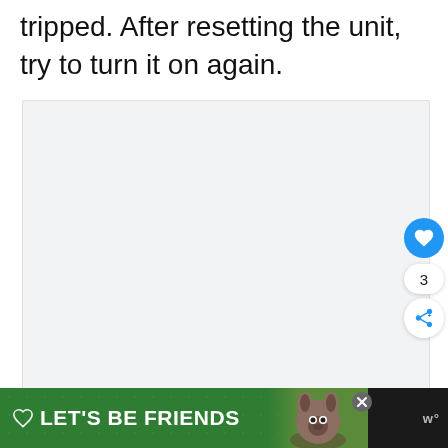tripped. After resetting the unit, try to turn it on again.
[Figure (other): Large light gray placeholder image area]
[Figure (infographic): Social media UI overlay: heart/like button (blue circle), count '3', share button (white circle with share icon)]
[Figure (other): Advertisement banner at bottom: dark background with green section reading 'LET'S BE FRIENDS' with dog image and close button. Logo 'w°' on right.]